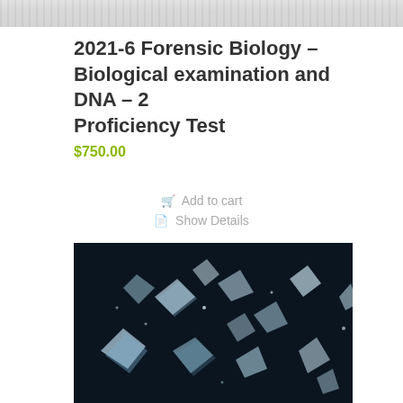[Figure (photo): Top partial image, grainy textured background]
2021-6 Forensic Biology – Biological examination and DNA – 2 Proficiency Test
$750.00
Add to cart
Show Details
[Figure (photo): Photo of broken glass shards scattered on a dark surface]